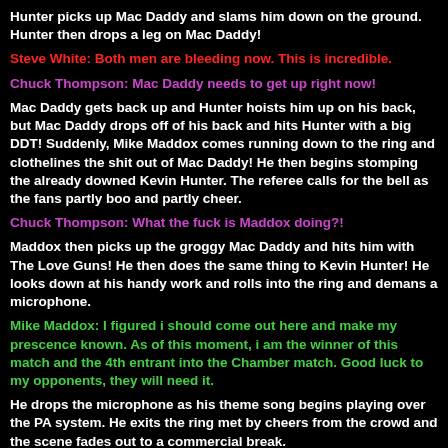Hunter picks up Mac Daddy and slams him down on the ground. Hunter then drops a leg on Mac Daddy!
Steve White: Both men are bleeding now. This is incredible.
Chuck Thompson: Mac Daddy needs to get up right now!
Mac Daddy gets back up and Hunter hoists him up on his back, but Mac Daddy drops off of his back and hits Hunter with a big DDT! Suddenly, Mike Maddox comes running down to the ring and clothelines the shit out of Mac Daddy! He then begins stomping the already downed Kevin Hunter. The referee calls for the bell as the fans partly boo and partly cheer.
Chuck Thompson: What the fuck is Maddox doing?!
Maddox then picks up the groggy Mac Daddy and hits him with The Love Guns! He then does the same thing to Kevin Hunter! He looks down at his handy work and rolls into the ring and demans a microphone.
Mike Maddox: I figured i should come out here and make my prescence known. As of this moment, i am the winner of this match and the 4th entrant into the Chamber match. Good luck to my opponents, they will need it.
He drops the microphone as his theme song begins playing over the PA system. He exits the ring met by cheers from the crowd and the scene fades out to a commercial break.